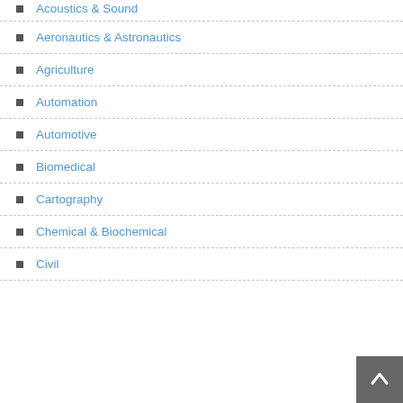Acoustics & Sound
Aeronautics & Astronautics
Agriculture
Automation
Automotive
Biomedical
Cartography
Chemical & Biochemical
Civil